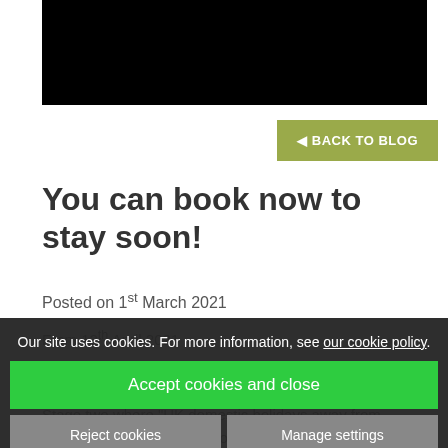[Figure (photo): Black image placeholder at top of page]
◄ BACK TO BLOG
You can book now to stay soon!
Posted on 1st March 2021
From 12th April 2021...
The "roadmap" for easing Covid restrictions in England means that from 12th April...
Stage two where "UK domestic holidays away from home..." accommodation able to re-open for use by
Our site uses cookies. For more information, see our cookie policy.
Accept cookies and close
Reject cookies
Manage settings